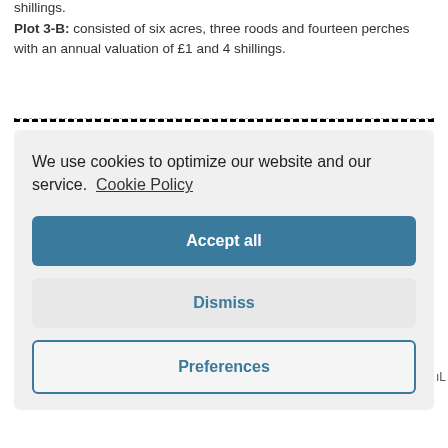shillings.
Plot 3-B:  consisted of six acres, three roods and fourteen perches with an annual valuation of £1 and 4 shillings.
We use cookies to optimize our website and our service.  Cookie Policy
Accept all
Dismiss
Preferences